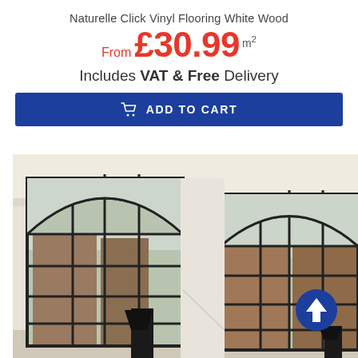Naturelle Click Vinyl Flooring White Wood
From £30.99 m²
Includes VAT & Free Delivery
ADD TO CART
[Figure (photo): Interior room photo showing large arched black-framed warehouse-style windows with a view of brick buildings outside, white walls, and a black lamp visible in the foreground.]